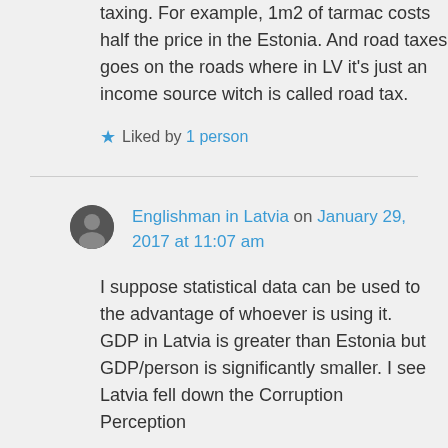taxing. For example, 1m2 of tarmac costs half the price in the Estonia. And road taxes goes on the roads where in LV it's just an income source witch is called road tax.
Liked by 1 person
Englishman in Latvia on January 29, 2017 at 11:07 am
I suppose statistical data can be used to the advantage of whoever is using it. GDP in Latvia is greater than Estonia but GDP/person is significantly smaller. I see Latvia fell down the Corruption Perception